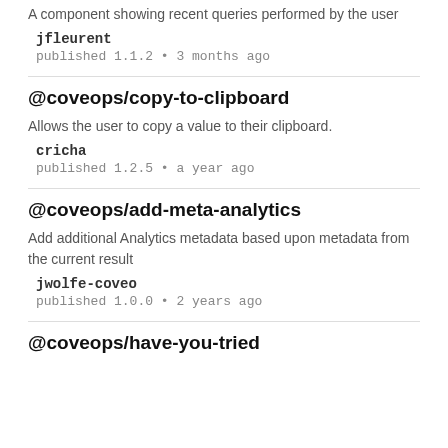A component showing recent queries performed by the user
jfleurent
published 1.1.2 • 3 months ago
@coveops/copy-to-clipboard
Allows the user to copy a value to their clipboard.
cricha
published 1.2.5 • a year ago
@coveops/add-meta-analytics
Add additional Analytics metadata based upon metadata from the current result
jwolfe-coveo
published 1.0.0 • 2 years ago
@coveops/have-you-tried